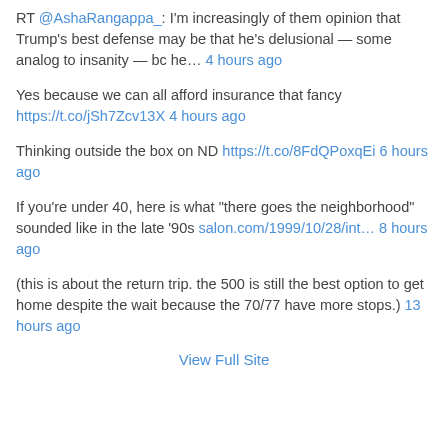RT @AshaRangappa_: I'm increasingly of them opinion that Trump's best defense may be that he's delusional — some analog to insanity — bc he… 4 hours ago
Yes because we can all afford insurance that fancy https://t.co/jSh7Zcv13X 4 hours ago
Thinking outside the box on ND https://t.co/8FdQPoxqEi 6 hours ago
If you're under 40, here is what "there goes the neighborhood" sounded like in the late '90s salon.com/1999/10/28/int… 8 hours ago
(this is about the return trip. the 500 is still the best option to get home despite the wait because the 70/77 have more stops.) 13 hours ago
View Full Site